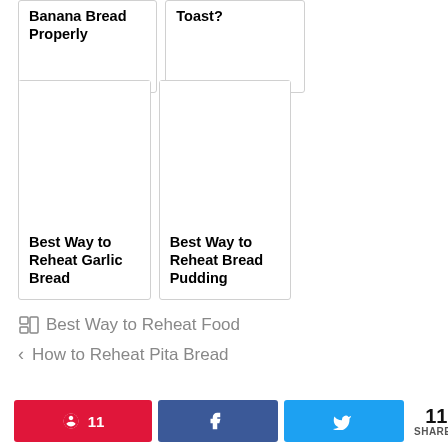Banana Bread Properly
Toast?
[Figure (illustration): Blank card placeholder for garlic bread article image]
Best Way to Reheat Garlic Bread
[Figure (illustration): Blank card placeholder for bread pudding article image]
Best Way to Reheat Bread Pudding
Best Way to Reheat Food
How to Reheat Pita Bread
11 SHARES